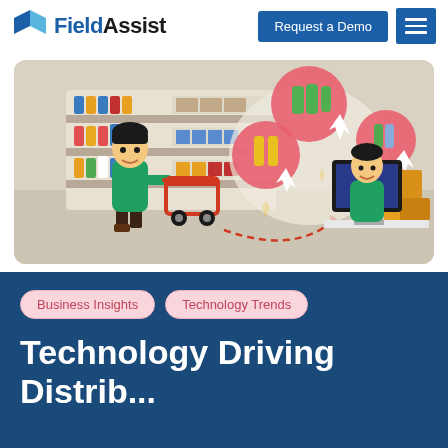FieldAssist — Request a Demo
[Figure (illustration): Hero illustration showing a person with a shopping cart in front of store shelves on the left, connected by a dashed arrow to a person at a computer on the right, with floating product icons in pink circles above]
Business Insights
Technology Trends
Technology Driving Distribution Channel